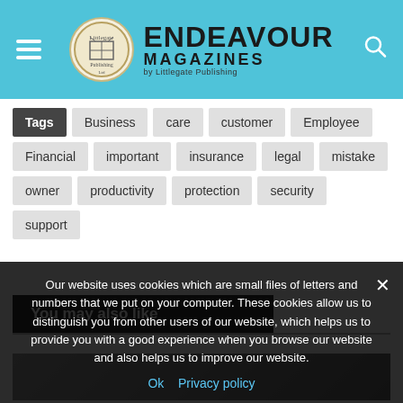Endeavour Magazines by Littlegate Publishing
Tags Business care customer Employee Financial important insurance legal mistake owner productivity protection security support
You may also like
[Figure (photo): Partial thumbnail image below You may also like section]
Our website uses cookies which are small files of letters and numbers that we put on your computer. These cookies allow us to distinguish you from other users of our website, which helps us to provide you with a good experience when you browse our website and also helps us to improve our website.
Ok  Privacy policy